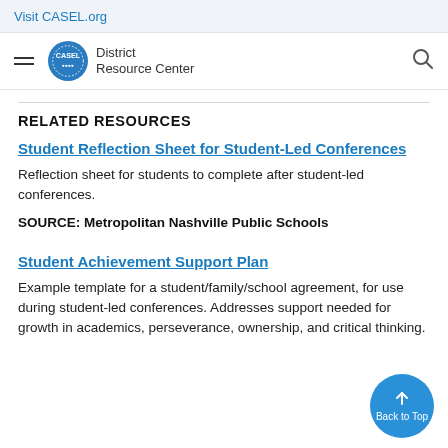Visit CASEL.org
[Figure (logo): CASEL District Resource Center logo with navigation hamburger menu and search icon]
RELATED RESOURCES
Student Reflection Sheet for Student-Led Conferences
Reflection sheet for students to complete after student-led conferences.
SOURCE: Metropolitan Nashville Public Schools
Student Achievement Support Plan
Example template for a student/family/school agreement, for use during student-led conferences. Addresses support needed for growth in academics, perseverance, ownership, and critical thinking.